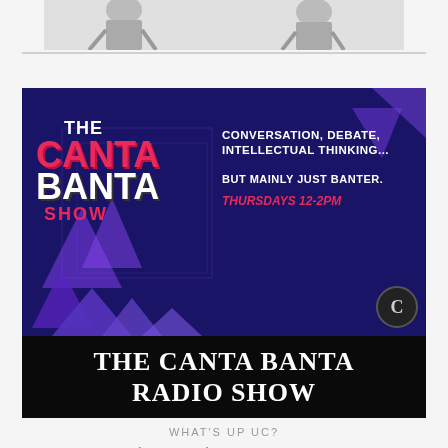[Figure (photo): Black and white photo strip showing people, partial view at top of page]
[Figure (illustration): The Canta Banta Show promotional banner. Dark navy background with geometric triangles. Left side shows stacked show logo text: THE in white, CANTA in red/pink, BANTA in white, SHOW in red. Right side reads: CONVERSATION, DEBATE, INTELLECTUAL THINKING... / BUT MAINLY JUST BANTER. in white bold text, and THURSDAYS 12-2PM in pink italic. Bottom black bar reads: THE CANTA BANTA RADIO SHOW in large white serif text. Small circular logo in bottom right corner.]
WHAT'S UP UC?
Inspired by the legacy of student media from year's past. The